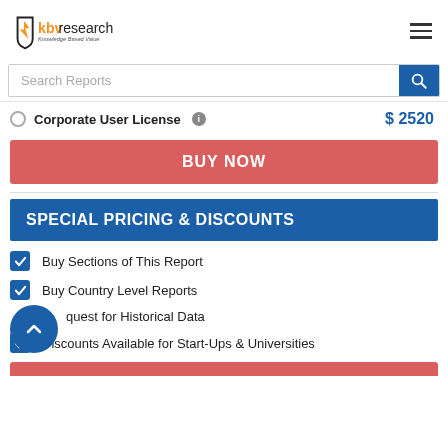KBV Research - Knowledge Based Value
Search Reports
Corporate User License  $ 2520
BUY NOW
SPECIAL PRICING & DISCOUNTS
Buy Sections of This Report
Buy Country Level Reports
Request for Historical Data
Discounts Available for Start-Ups & Universities